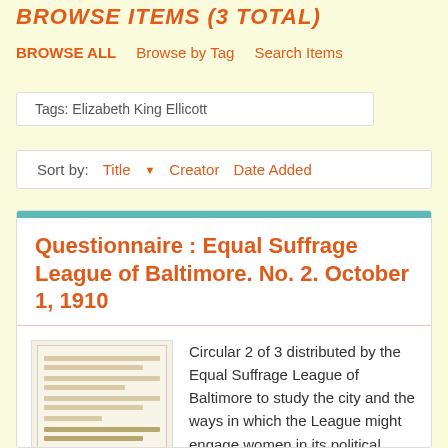BROWSE ITEMS (3 TOTAL)
BROWSE ALL   Browse by Tag   Search Items
Tags: Elizabeth King Ellicott
Sort by: Title ▼ Creator Date Added
Questionnaire : Equal Suffrage League of Baltimore. No. 2. October 1, 1910
[Figure (photo): Thumbnail image of a historical questionnaire document with handwritten/printed text lines]
Circular 2 of 3 distributed by the Equal Suffrage League of Baltimore to study the city and the ways in which the League might engage women in its political